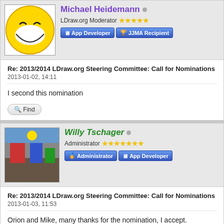Michael Heidemann
LDraw.org Moderator ★★★★★
App Developer | JJMA Recipient
Re: 2013/2014 LDraw.org Steering Committee: Call for Nominations
2013-01-02, 14:11
I second this nomination
Willy Tschager
Administrator ★★★★★★★
Administrator | App Developer
Re: 2013/2014 LDraw.org Steering Committee: Call for Nominations
2013-01-03, 11:53
Orion and Mike, many thanks for the nomination, I accept.